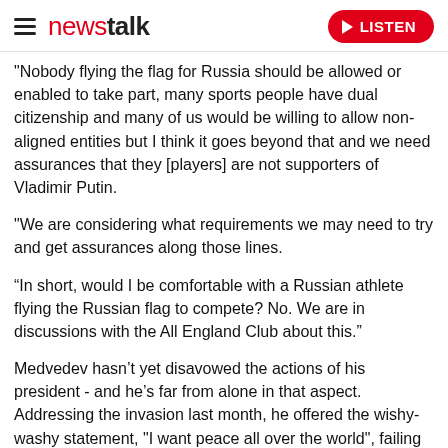newstalk | LISTEN
"Nobody flying the flag for Russia should be allowed or enabled to take part, many sports people have dual citizenship and many of us would be willing to allow non-aligned entities but I think it goes beyond that and we need assurances that they [players] are not supporters of Vladimir Putin.
"We are considering what requirements we may need to try and get assurances along those lines.
“In short, would I be comfortable with a Russian athlete flying the Russian flag to compete? No. We are in discussions with the All England Club about this.”
Medvedev hasn’t yet disavowed the actions of his president - and he’s far from alone in that aspect. Addressing the invasion last month, he offered the wishy-washy statement, "I want peace all over the world", failing to condemn Putin's unlawful actions.